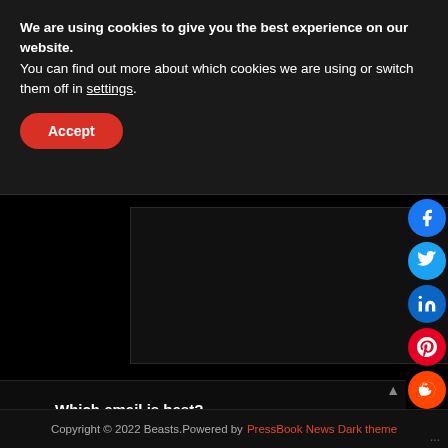We are using cookies to give you the best experience on our website.
You can find out more about which cookies we are using or switch them off in settings.
Accept
[Figure (screenshot): Dark video player area embedded in black background]
Which email is best?
FAQ
Copyright © 2022 Beasts.Powered by PressBook News Dark theme